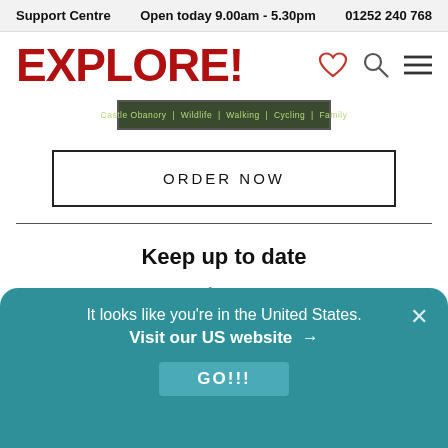Support Centre   Open today 9.00am - 5.30pm   01252 240 768
EXPLORE!
[Figure (screenshot): Small banner image with categories: Castle Obanory | Wildlife | Walking | Cycling | Family]
ORDER NOW
Keep up to date
Sign up to our newsletter for latest news, deals and travel information
It looks like you're in the United States.
Visit our US website →
GO!!!